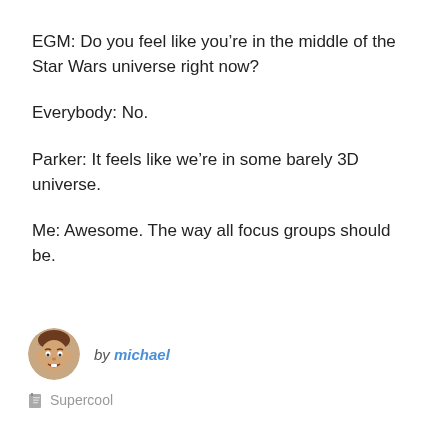EGM: Do you feel like you’re in the middle of the Star Wars universe right now?
Everybody: No.
Parker: It feels like we’re in some barely 3D universe.
Me: Awesome. The way all focus groups should be.
by michael
Supercool